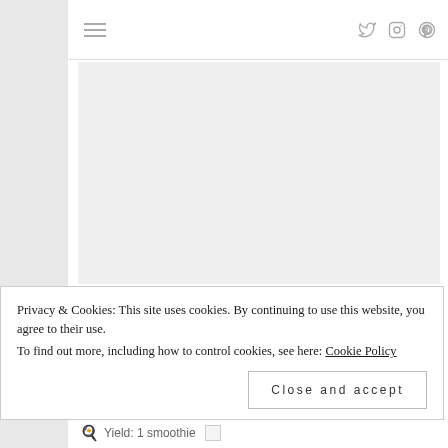≡  (navigation icons: Twitter, Instagram, Pinterest)
[Figure (photo): Image placeholder area for Blueberry Ginger Collagen Smoothie, light gray background]
Blueberry Ginger Collagen Smoothie (AIP, Paleo)
Privacy & Cookies: This site uses cookies. By continuing to use this website, you agree to their use.
To find out more, including how to control cookies, see here: Cookie Policy
Close and accept
Yield: 1 smoothie